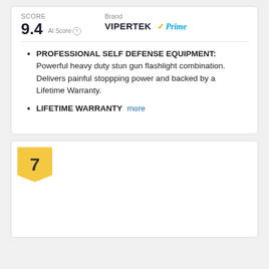SCORE 9.4 AI Score | Brand VIPERTEK Prime
PROFESSIONAL SELF DEFENSE EQUIPMENT: Powerful heavy duty stun gun flashlight combination. Delivers painful stoppping power and backed by a Lifetime Warranty.
LIFETIME WARRANTY more
7